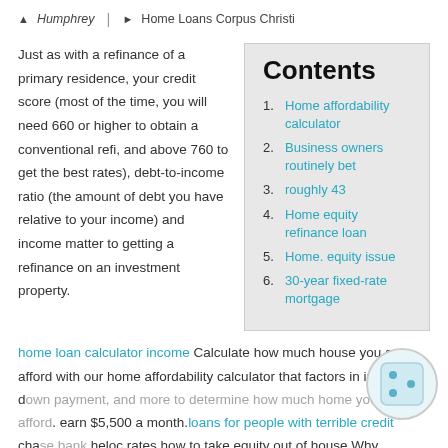Humphrey | Home Loans Corpus Christi
Just as with a refinance of a primary residence, your credit score (most of the time, you will need 660 or higher to obtain a conventional refi, and above 760 to get the best rates), debt-to-income ratio (the amount of debt you have relative to your income) and income matter to getting a refinance on an investment property.
Contents
Home affordability calculator
Business owners routinely bet
roughly 43
Home equity refinance loan
Home. equity issue
30-year fixed-rate mortgage
home loan calculator income Calculate how much house you can afford with our home affordability calculator that factors in income, down payment, and more to determine how much home you can afford. earn $5,500 a month.loans for people with terrible credit chase bank heloc rates how to take equity out of house Why business owners